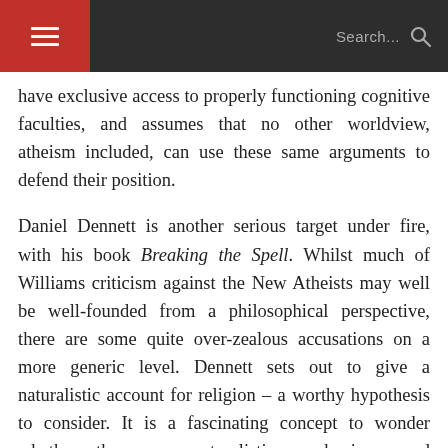☰  Search...
have exclusive access to properly functioning cognitive faculties, and assumes that no other worldview, atheism included, can use these same arguments to defend their position.
Daniel Dennett is another serious target under fire, with his book Breaking the Spell. Whilst much of Williams criticism against the New Atheists may well be well-founded from a philosophical perspective, there are some quite over-zealous accusations on a more generic level. Dennett sets out to give a naturalistic account for religion – a worthy hypothesis to consider. It is a fascinating concept to wonder whether there are naturalistic mechanisms and evolutionary processes that can be considered responsible for the creation and